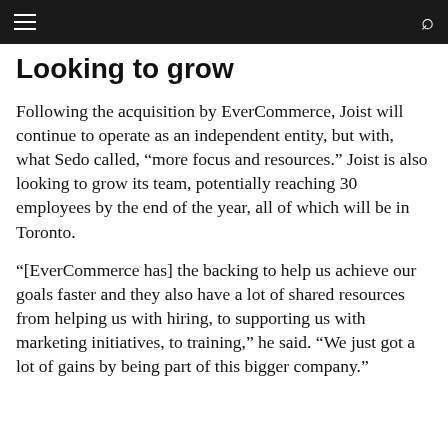Navigation bar with hamburger menu and search icon
Looking to grow
Following the acquisition by EverCommerce, Joist will continue to operate as an independent entity, but with, what Sedo called, “more focus and resources.” Joist is also looking to grow its team, potentially reaching 30 employees by the end of the year, all of which will be in Toronto.
“[EverCommerce has] the backing to help us achieve our goals faster and they also have a lot of shared resources from helping us with hiring, to supporting us with marketing initiatives, to training,” he said. “We just got a lot of gains by being part of this bigger company.”